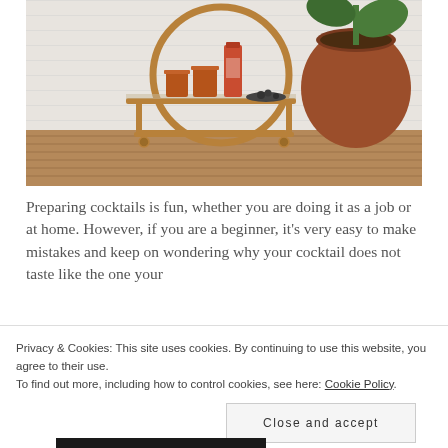[Figure (photo): A mid-century modern round gold bar cart on a wood floor against a white brick wall, holding copper mugs, a tall canister, and some dark decorative stones, next to a large terracotta pot with a fiddle-leaf fig plant.]
Preparing cocktails is fun, whether you are doing it as a job or at home. However, if you are a beginner, it's very easy to make mistakes and keep on wondering why your cocktail does not taste like the one your…
Privacy & Cookies: This site uses cookies. By continuing to use this website, you agree to their use.
To find out more, including how to control cookies, see here: Cookie Policy
Close and accept